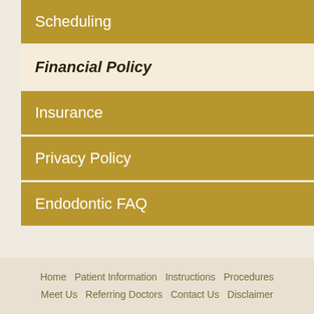Scheduling
Financial Policy
Insurance
Privacy Policy
Endodontic FAQ
Home  Patient Information  Instructions  Procedures  Meet Us  Referring Doctors  Contact Us  Disclaimer